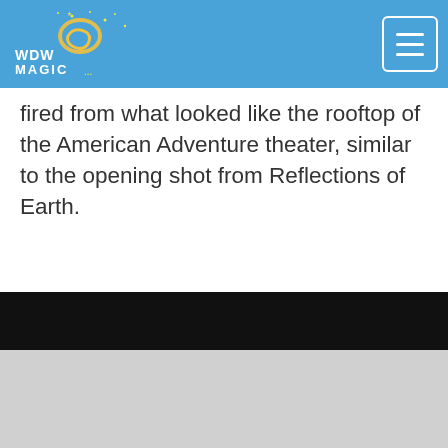WDW Magic
fired from what looked like the rooftop of the American Adventure theater, similar to the opening shot from Reflections of Earth.
[Figure (photo): Embedded video or image with a black top bar and grey content area below, partially visible at the bottom of the page.]